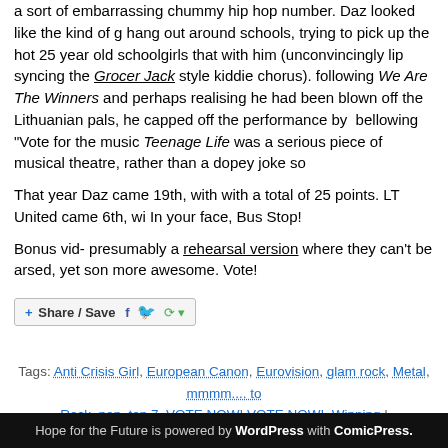a sort of embarrassing chummy hip hop number. Daz looked like the kind of g hang out around schools, trying to pick up the hot 25 year old schoolgirls that with him (unconvincingly lip syncing the Grocer Jack style kiddie chorus). following We Are The Winners and perhaps realising he had been blown off the Lithuanian pals, he capped off the performance by bellowing "Vote for the music Teenage Life was a serious piece of musical theatre, rather than a dopey joke so
That year Daz came 19th, with with a total of 25 points. LT United came 6th, wi In your face, Bus Stop!
Bonus vid- presumably a rehearsal version where they can't be arsed, yet son more awesome. Vote!
[Figure (other): Share/Save social media button widget with Facebook, Twitter, and other share icons]
Tags: Anti Crisis Girl, European Canon, Eurovision, glam rock, Metal, mmmm.... to Rock, pop, top 7, VOTE NOW! VOTE NOW!, Winning |
Hope for the Future is powered by WordPress with ComicPress.